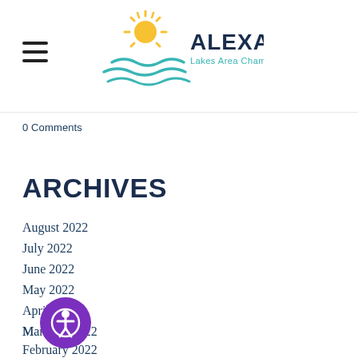Alexandria Lakes Area Chamber of Commerce
0 Comments
ARCHIVES
August 2022
July 2022
June 2022
May 2022
April 2022
March 2022
February 2022
January 2022
[Figure (logo): Alexandria Lakes Area Chamber of Commerce logo with sun and waves]